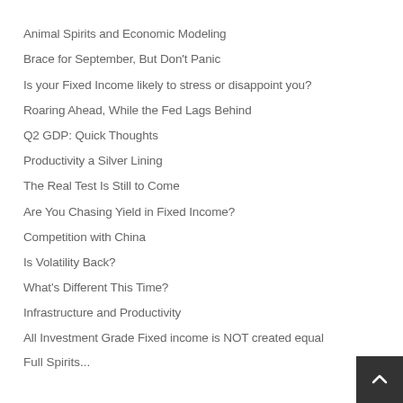Animal Spirits and Economic Modeling
Brace for September, But Don't Panic
Is your Fixed Income likely to stress or disappoint you?
Roaring Ahead, While the Fed Lags Behind
Q2 GDP: Quick Thoughts
Productivity a Silver Lining
The Real Test Is Still to Come
Are You Chasing Yield in Fixed Income?
Competition with China
Is Volatility Back?
What's Different This Time?
Infrastructure and Productivity
All Investment Grade Fixed income is NOT created equal
Full Spirits...